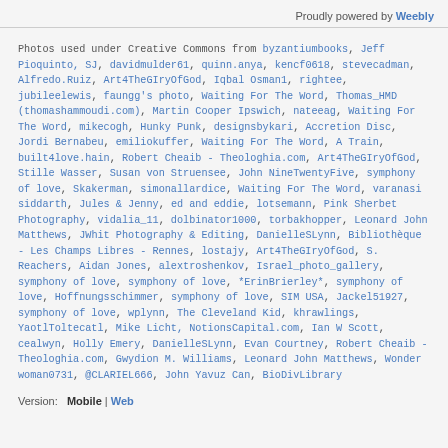Proudly powered by Weebly
Photos used under Creative Commons from byzantiumbooks, Jeff Pioquinto, SJ, davidmulder61, quinn.anya, kencf0618, stevecadman, Alfredo.Ruiz, Art4TheGIryOfGod, Iqbal Osman1, rightee, jubileelewis, faungg's photo, Waiting For The Word, Thomas_HMD (thomashammoudi.com), Martin Cooper Ipswich, nateeag, Waiting For The Word, mikecogh, Hunky Punk, designsbykari, Accretion Disc, Jordi Bernabeu, emiliokuffer, Waiting For The Word, A Train, built4love.hain, Robert Cheaib - Theologhia.com, Art4TheGIryOfGod, Stille Wasser, Susan von Struensee, John NineTwentyFive, symphony of love, Skakerman, simonallardice, Waiting For The Word, varanasi siddarth, Jules & Jenny, ed and eddie, lotsemann, Pink Sherbet Photography, vidalia_11, dolbinator1000, torbakhopper, Leonard John Matthews, JWhit Photography & Editing, DanielleSLynn, Bibliothèque - Les Champs Libres - Rennes, lostajy, Art4TheGIryOfGod, S. Reachers, Aidan Jones, alextroshenkov, Israel_photo_gallery, symphony of love, symphony of love, *ErinBrierley*, symphony of love, Hoffnungsschimmer, symphony of love, SIM USA, Jackel51927, symphony of love, wplynn, The Cleveland Kid, khrawlings, YaotlToltecatl, Mike Licht, NotionsCapital.com, Ian W Scott, cealwyn, Holly Emery, DanielleSLynn, Evan Courtney, Robert Cheaib - Theologhia.com, Gwydion M. Williams, Leonard John Matthews, Wonder woman0731, @CLARIEL666, John Yavuz Can, BioDivLibrary
Version:  Mobile | Web